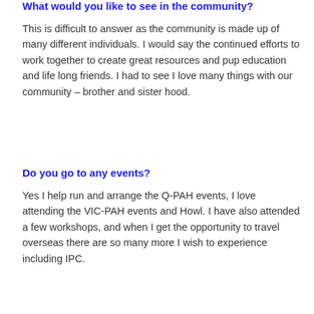What would you like to see in the community?
This is difficult to answer as the community is made up of many different individuals. I would say the continued efforts to work together to create great resources and pup education and life long friends. I had to see I love many things with our community – brother and sister hood.
Do you go to any events?
Yes I help run and arrange the Q-PAH events, I love attending the VIC-PAH events and Howl. I have also attended a few workshops, and when I get the opportunity to travel overseas there are so many more I wish to experience including IPC.